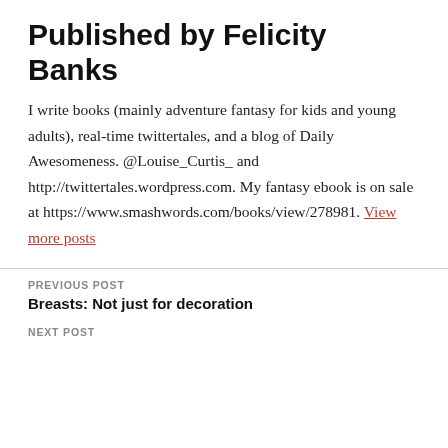Published by Felicity Banks
I write books (mainly adventure fantasy for kids and young adults), real-time twittertales, and a blog of Daily Awesomeness. @Louise_Curtis_ and http://twittertales.wordpress.com. My fantasy ebook is on sale at https://www.smashwords.com/books/view/278981. View more posts
PREVIOUS POST
Breasts: Not just for decoration
NEXT POST